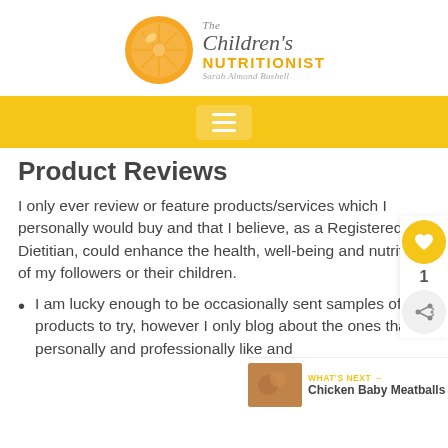[Figure (logo): The Children's Nutritionist logo: orange slice circle with text 'The Children's NUTRITIONIST' and 'Sarah Almond Bushell']
[Figure (screenshot): Yellow navigation bar with hamburger menu icon (three horizontal lines)]
Product Reviews
I only ever review or feature products/services which I personally would buy and that I believe, as a Registered Dietitian, could enhance the health, well-being and nutrition of my followers or their children.
I am lucky enough to be occasionally sent samples of products to try, however I only blog about the ones that I personally and professionally like and
[Figure (other): Social share widget: heart icon button (yellow circle), count '1', share button]
[Figure (other): What's Next panel: thumbnail of Chicken Baby Meatballs with text 'WHAT'S NEXT → Chicken Baby Meatballs']